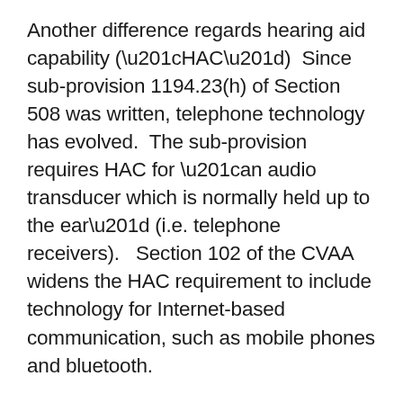Another difference regards hearing aid capability (“HAC”)  Since sub-provision 1194.23(h) of Section 508 was written, telephone technology has evolved.  The sub-provision requires HAC for “an audio transducer which is normally held up to the ear” (i.e. telephone receivers).   Section 102 of the CVAA widens the HAC requirement to include technology for Internet-based communication, such as mobile phones and bluetooth.
Emergency transmissions for persons with vision and/or hearing impairments is another area where regulatory updates have been made.  Section 255 of the Telecommunications Act and Title II of the ADA requires standard telephone carriers to provide emergency access